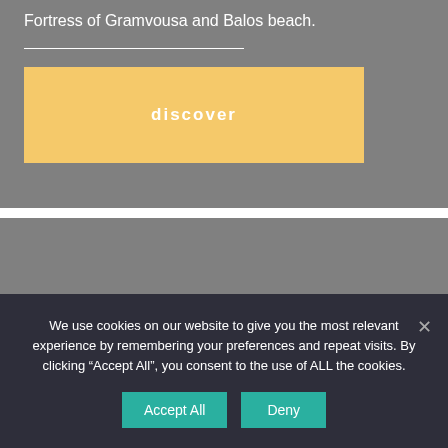Fortress of Gramvousa and Balos beach.
[Figure (other): Gray placeholder image area for card content]
[Figure (other): Gray placeholder image area for second card]
We use cookies on our website to give you the most relevant experience by remembering your preferences and repeat visits. By clicking “Accept All”, you consent to the use of ALL the cookies.
Accept All
Deny